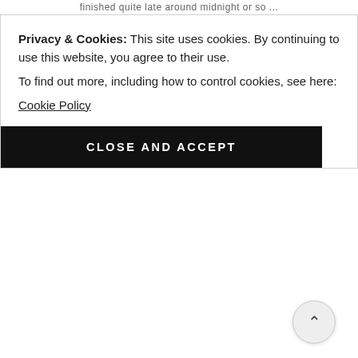finished quite late around midnight or so ...
Privacy & Cookies: This site uses cookies. By continuing to use this website, you agree to their use.
To find out more, including how to control cookies, see here:
Cookie Policy
CLOSE AND ACCEPT
REPLY
vishalbheeroo
July 23, 2016 at 10:04 PM
Your words always make an impact. WoW! I am in awe and how you manage to write in between. That's awesome. Makes me wondering whether my next fiction as a tribute to